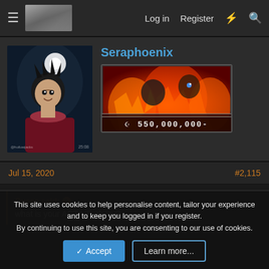Log in  Register
Seraphoenix
[Figure (illustration): Anime character avatar - dark background with character figure]
[Figure (illustration): Bounty banner with fiery anime artwork and text '$ 550,000,000-']
Jul 15, 2020
#2,115
Queen said:
what is your ACTIVE ability?
This site uses cookies to help personalise content, tailor your experience and to keep you logged in if you register.
By continuing to use this site, you are consenting to our use of cookies.
Accept  Learn more...